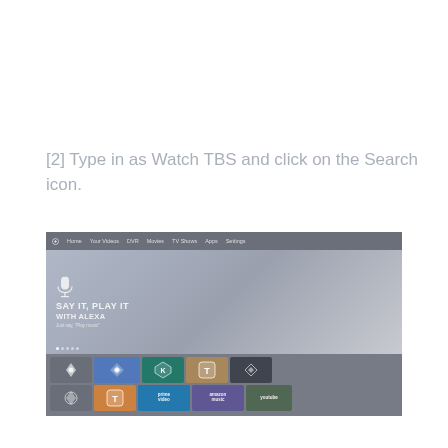[2] Type in as Watch TBS and click on the Search icon.
[Figure (screenshot): Screenshot of a Fire TV or Amazon streaming device interface showing a home screen with navigation bar (Home, Your Videos, DVR, Movies, TV Shows, Apps, Settings), a 'SAY IT, PLAY IT WITH ALEXA' hero banner with microphone icon, and two rows of app tiles including Prime Video, Amazon Music, YouTube, and other apps.]